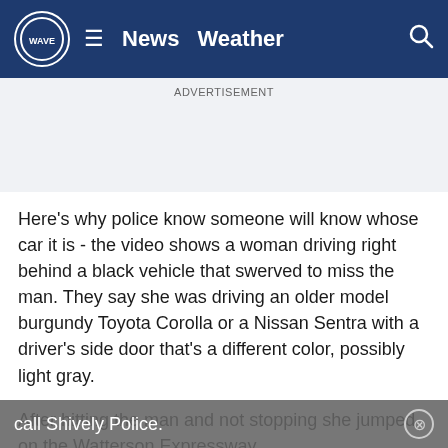WAVE  ≡  News  Weather  🔍
ADVERTISEMENT
Here's why police know someone will know whose car it is - the video shows a woman driving right behind a black vehicle that swerved to miss the man. They say she was driving an older model burgundy Toyota Corolla or a Nissan Sentra with a driver's side door that's a different color, possibly light gray.
After hitting the man and not stopping she jumped on the Watterson Expressway.
Anyone who has information on this car or driver should call Shively Police.